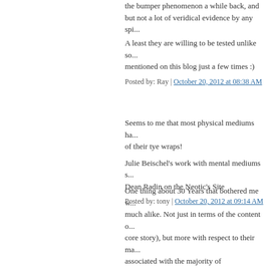the bumper phenomenon a while back, and not a lot of veridical evidence by any spi...
A least they are willing to be tested unlike so... mentioned on this blog just a few times :)
Posted by: Ray | October 20, 2012 at 08:38 AM
Seems to me that most physical mediums ha... of their tye wraps!
Julie Beischel's work with mental mediums s... Dean Radin on the Neotic's Site
Posted by: tony | October 20, 2012 at 09:14 AM
One thing about 30 Years that bothered me w... much alike. Not just in terms of the content o... core story), but more with respect to their ma... associated with the majority of corresponden... Wickland reconstructed the spirit conversatio... was actually said in his own words. That mig... way it *sounded* to me. Maybe it's just my o...
Posted by: tsavo | October 20, 2012 at 10:40 AM